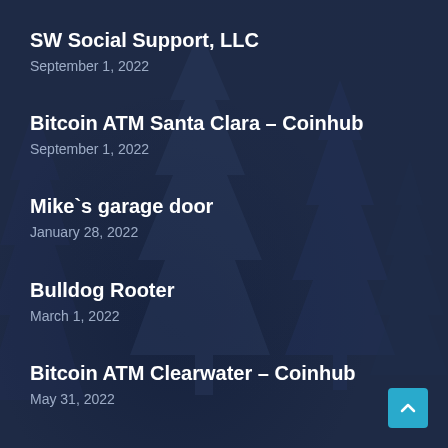SW Social Support, LLC
September 1, 2022
Bitcoin ATM Santa Clara – Coinhub
September 1, 2022
Mike`s garage door
January 28, 2022
Bulldog Rooter
March 1, 2022
Bitcoin ATM Clearwater – Coinhub
May 31, 2022